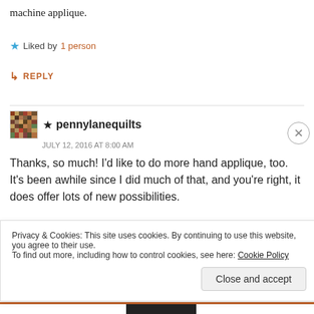machine applique.
★ Liked by 1 person
↳ REPLY
★ pennylanequilts
JULY 12, 2016 AT 8:00 AM
Thanks, so much! I'd like to do more hand applique, too. It's been awhile since I did much of that, and you're right, it does offer lots of new possibilities.
Privacy & Cookies: This site uses cookies. By continuing to use this website, you agree to their use.
To find out more, including how to control cookies, see here: Cookie Policy
Close and accept